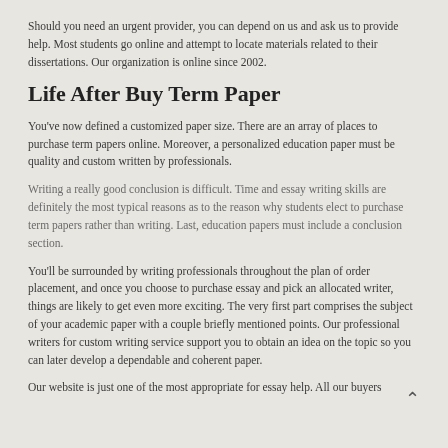Should you need an urgent provider, you can depend on us and ask us to provide help. Most students go online and attempt to locate materials related to their dissertations. Our organization is online since 2002.
Life After Buy Term Paper
You've now defined a customized paper size. There are an array of places to purchase term papers online. Moreover, a personalized education paper must be quality and custom written by professionals.
Writing a really good conclusion is difficult. Time and essay writing skills are definitely the most typical reasons as to the reason why students elect to purchase term papers rather than writing. Last, education papers must include a conclusion section.
You'll be surrounded by writing professionals throughout the plan of order placement, and once you choose to purchase essay and pick an allocated writer, things are likely to get even more exciting. The very first part comprises the subject of your academic paper with a couple briefly mentioned points. Our professional writers for custom writing service support you to obtain an idea on the topic so you can later develop a dependable and coherent paper.
Our website is just one of the most appropriate for essay help. All our buyers